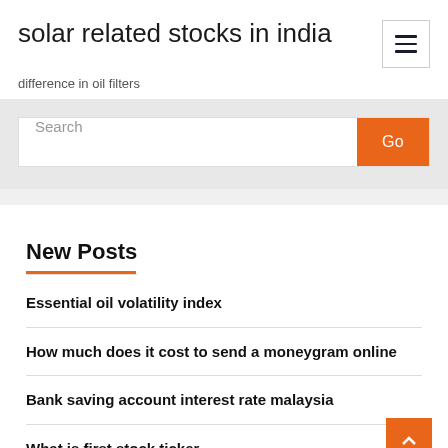solar related stocks in india
difference in oil filters
Search
New Posts
Essential oil volatility index
How much does it cost to send a moneygram online
Bank saving account interest rate malaysia
What is first stock ticker
Publicly traded french wine companies